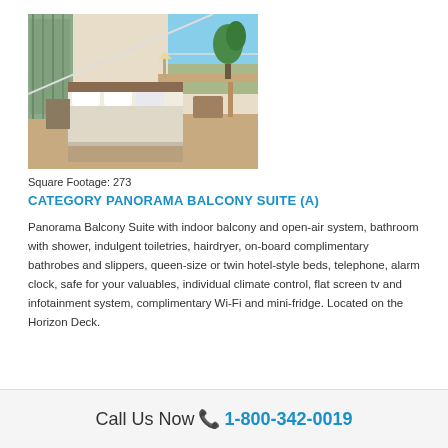[Figure (photo): Hotel room photo showing a panorama balcony suite with a bed, desk, and large windows with natural light]
Square Footage: 273
CATEGORY PANORAMA BALCONY SUITE (A)
Panorama Balcony Suite with indoor balcony and open-air system, bathroom with shower, indulgent toiletries, hairdryer, on-board complimentary bathrobes and slippers, queen-size or twin hotel-style beds, telephone, alarm clock, safe for your valuables, individual climate control, flat screen tv and infotainment system, complimentary Wi-Fi and mini-fridge. Located on the Horizon Deck.
Call Us Now 📞 1-800-342-0019